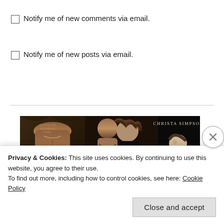Notify me of new comments via email.
Notify me of new posts via email.
[Figure (photo): Book banner image showing three romance novel covers by Christa Simpson with shirtless male models and female figures on dark backgrounds. Author name 'CHRISTA SIMPSON' visible in top right.]
Privacy & Cookies: This site uses cookies. By continuing to use this website, you agree to their use.
To find out more, including how to control cookies, see here: Cookie Policy
Close and accept